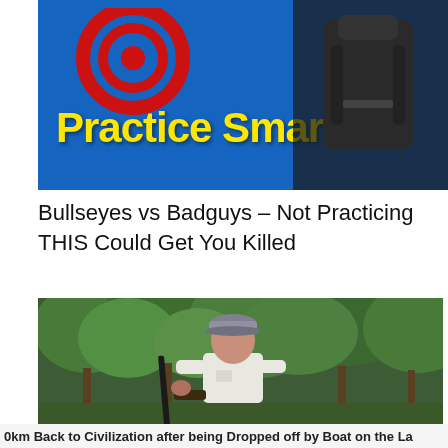[Figure (screenshot): Blue banner image with yellow bold text 'Practice Smart', red bullseye target on left, dark figure/backpack on right]
Bullseyes vs Badguys – Not Practicing THIS Could Get You Killed
[Figure (photo): Older man in white t-shirt and baseball cap holding a rifle, standing outdoors in front of trees/forest]
0km Back to Civilization after being Dropped off by Boat on the La